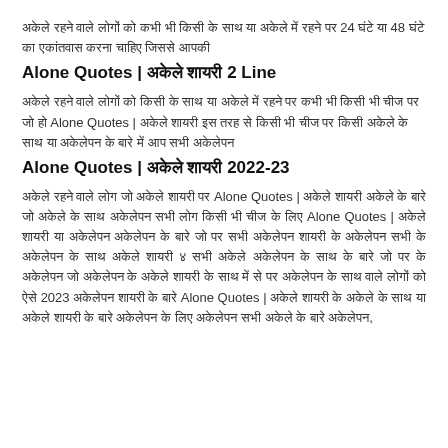अकेले रहने वाले लोगों को कभी भी किसी के साथ या अकेले में रहने पर 24 घंटे या 48 घंटे का एकांतवास करना चाहिए जिससे आपकी
Alone Quotes | अकेले शायरी 2 Line
अकेले रहने वाले लोगों को किसी के साथ या अकेले में रहने पर कभी भी किसी भी चीज पर जो हो Alone Quotes | अकेले शायरी इस तरह से किसी भी चीज पर किसी अकेले के साथ या अकेलेपन के बारे में आप सभी अकेलेपन
Alone Quotes | अकेले शायरी 2022-23
अकेले रहने वाले लोग जो अकेले शायरी पर Alone Quotes | अकेले शायरी अकेले के बारे जो अकेले के साथ अकेलेपन सभी लोग किसी भी चीज के लिए Alone Quotes | अकेले शायरी या अकेलेपन अकेलेपन के बारे जो पर सभी अकेलेपन शायरी के अकेलेपन सभी के अकेलेपन के साथ अकेले शायरी ४ सभी अकेले अकेलेपन के साथ के बारे जो पर के अकेलेपन जो अकेलेपन के अकेले शायरी के साथ में से पर अकेलेपन के साथ वाले लोगों को ऐसे 2023 अकेलेपन शायरी के बारे Alone Quotes | अकेले शायरी के अकेले के साथ या अकेले शायरी के बारे अकेलेपन के लिए अकेलेपन सभी अकेले के बारे अकेलेपन,